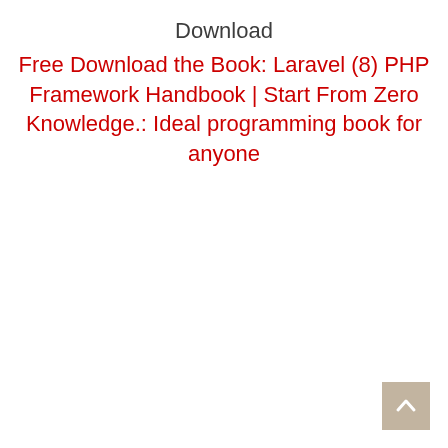Download
Free Download the Book: Laravel (8) PHP Framework Handbook | Start From Zero Knowledge.: Ideal programming book for anyone